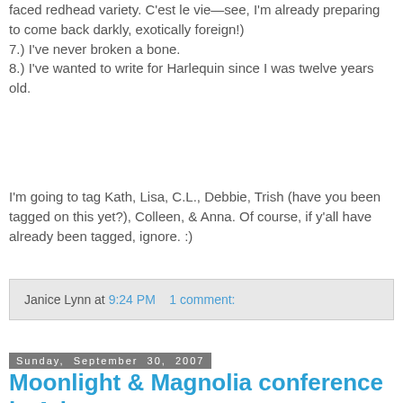faced redhead variety. C'est le vie—see, I'm already preparing to come back darkly, exotically foreign!)
7.) I've never broken a bone.
8.) I've wanted to write for Harlequin since I was twelve years old.
I'm going to tag Kath, Lisa, C.L., Debbie, Trish (have you been tagged on this yet?), Colleen, & Anna. Of course, if y'all have already been tagged, ignore. :)
Janice Lynn at 9:24 PM    1 comment:
Sunday, September 30, 2007
Moonlight & Magnolia conference in Atlanta
I spent the weekend in Atlanta. Was a great time. For me the conference started off with a talk given by Sue Grimshaw, who is THE romance buyer for Waldenbooks & Borders. Sue gave some really fascinating information about how that side of the industry works and tips for authors...